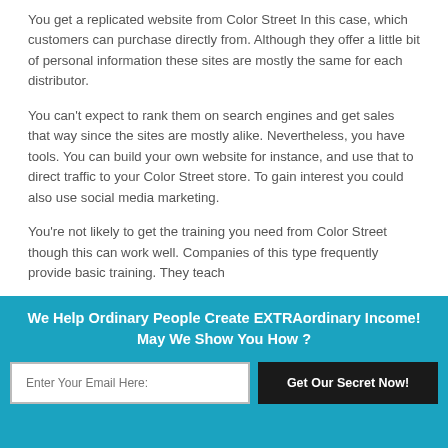You get a replicated website from Color Street In this case, which customers can purchase directly from. Although they offer a little bit of personal information these sites are mostly the same for each distributor.
You can't expect to rank them on search engines and get sales that way since the sites are mostly alike. Nevertheless, you have tools. You can build your own website for instance, and use that to direct traffic to your Color Street store. To gain interest you could also use social media marketing.
You're not likely to get the training you need from Color Street though this can work well. Companies of this type frequently provide basic training. They teach
We Help Ordinary People Create EXTRAordinary Income!
May We Show You How ?
Enter Your Email Here:
Get Our Secret Now!